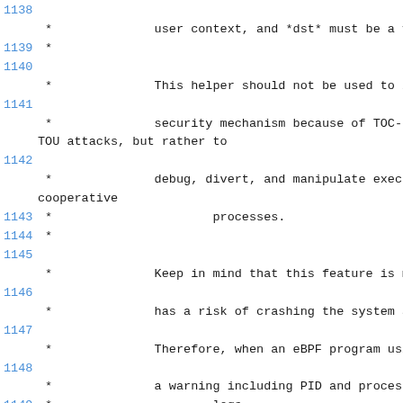Code listing lines 1138-1151 showing eBPF kernel documentation comments about user context, TOC-TOU attacks, process debugging, system crash risk, eBPF program warning with PID and process name logs, and return value of 0 on success or negative error.